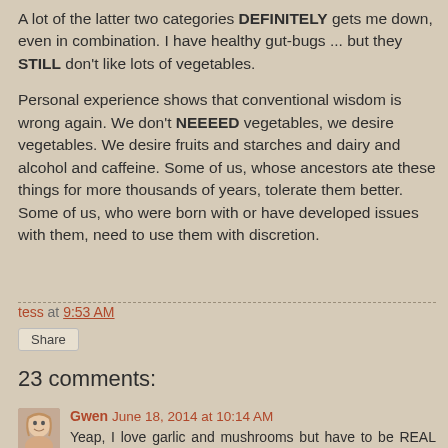A lot of the latter two categories DEFINITELY gets me down, even in combination.  I have healthy gut-bugs ... but they STILL don't like lots of vegetables.
Personal experience shows that conventional wisdom is wrong again.  We don't NEEEED vegetables, we desire vegetables.  We desire fruits and starches and dairy and alcohol and caffeine.  Some of us, whose ancestors ate these things for more thousands of years, tolerate them better.  Some of us, who were born with or have developed issues with them, need to use them with discretion.
tess at 9:53 AM
Share
23 comments:
Gwen June 18, 2014 at 10:14 AM
Yeap, I love garlic and mushrooms but have to be REAL judicious in my consumption of them. I hated broccoli all